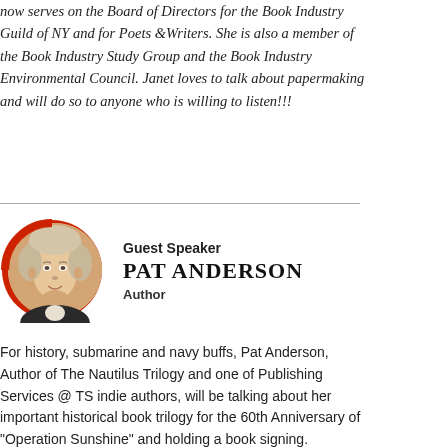now serves on the Board of Directors for the Book Industry Guild of NY and for Poets &Writers. She is also a member of the Book Industry Study Group and the Book Industry Environmental Council. Janet loves to talk about papermaking and will do so to anyone who is willing to listen!!!
[Figure (photo): Circular portrait photo of Pat Anderson with a red partial circle border on the left side, showing a woman with short light hair.]
Guest Speaker PAT ANDERSON Author
For history, submarine and navy buffs, Pat Anderson, Author of The Nautilus Trilogy and one of Publishing Services @ TS indie authors, will be talking about her important historical book trilogy for the 60th Anniversary of "Operation Sunshine" and holding a book signing.